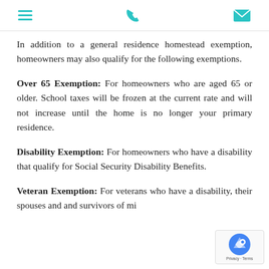[menu icon] [phone icon] [email icon]
In addition to a general residence homestead exemption, homeowners may also qualify for the following exemptions.
Over 65 Exemption: For homeowners who are aged 65 or older. School taxes will be frozen at the current rate and will not increase until the home is no longer your primary residence.
Disability Exemption: For homeowners who have a disability that qualify for Social Security Disability Benefits.
Veteran Exemption: For veterans who have a disability, their spouses and and survivors of military